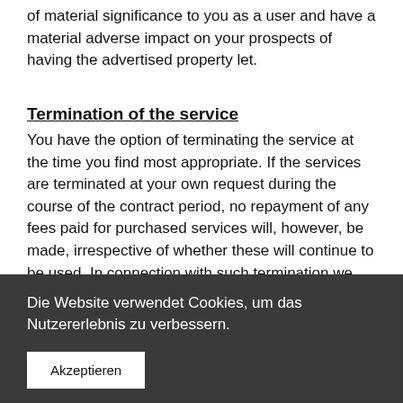of material significance to you as a user and have a material adverse impact on your prospects of having the advertised property let.
Termination of the service
You have the option of terminating the service at the time you find most appropriate. If the services are terminated at your own request during the course of the contract period, no repayment of any fees paid for purchased services will, however, be made, irrespective of whether these will continue to be used. In connection with such termination we will also permanently erase all data that has been processed
Die Website verwendet Cookies, um das Nutzererlebnis zu verbessern.
Akzeptieren